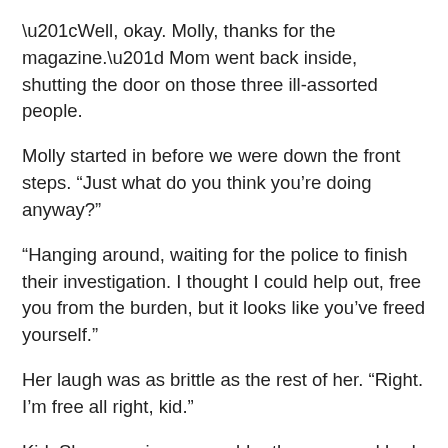“Well, okay. Molly, thanks for the magazine.” Mom went back inside, shutting the door on those three ill-assorted people.
Molly started in before we were down the front steps. “Just what do you think you’re doing anyway?”
“Hanging around, waiting for the police to finish their investigation. I thought I could help out, free you from the burden, but it looks like you’ve freed yourself.”
Her laugh was as brittle as the rest of her. “Right. I’m free all right, kid.”
Kid. She was nine years older than me, and had always been a complete mystery. I used to watch her get ready for dates, putting on lipstick that made her lips so pale they practically disappeared. She wielded a variety of brushes as skillfully as Dad used power tools—a special hairbrush to make her hair turn smoothly under, a tiny brush to outline her eyes. Standing intently before the mirror, she stroked eyeliner on in a shiny, seamless river that flowed